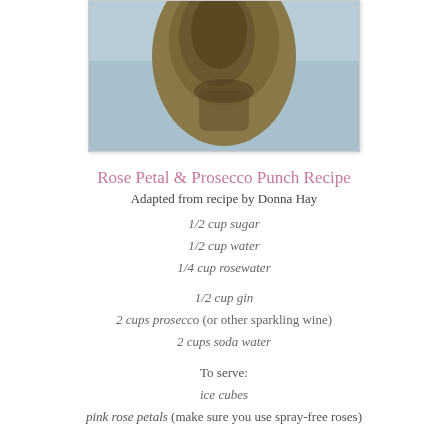[Figure (photo): Close-up photo of a glass or bowl with golden/amber liquid, light blue background visible]
Rose Petal & Prosecco Punch Recipe
Adapted from recipe by Donna Hay
1/2 cup sugar
1/2 cup water
1/4 cup rosewater
1/2 cup gin
2 cups prosecco (or other sparkling wine)
2 cups soda water
To serve:
ice cubes
pink rose petals (make sure you use spray-free roses)